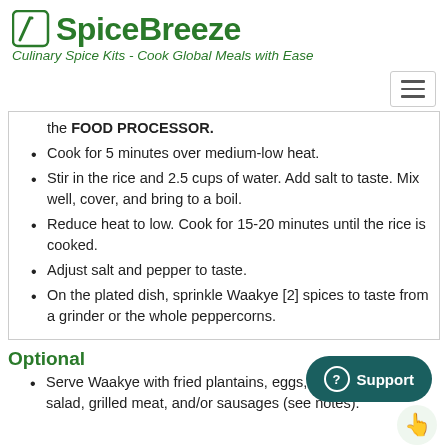[Figure (logo): SpiceBreeze logo with green leaf icon and bold green text]
Culinary Spice Kits - Cook Global Meals with Ease
[Figure (other): Hamburger navigation menu icon]
the FOOD PROCESSOR.
Cook for 5 minutes over medium-low heat.
Stir in the rice and 2.5 cups of water. Add salt to taste. Mix well, cover, and bring to a boil.
Reduce heat to low. Cook for 15-20 minutes until the rice is cooked.
Adjust salt and pepper to taste.
On the plated dish, sprinkle Waakye [2] spices to taste from a grinder or the whole peppercorns.
Optional
Serve Waakye with fried plantains, eggs, sour cabbage salad, grilled meat, and/or sausages (see notes).